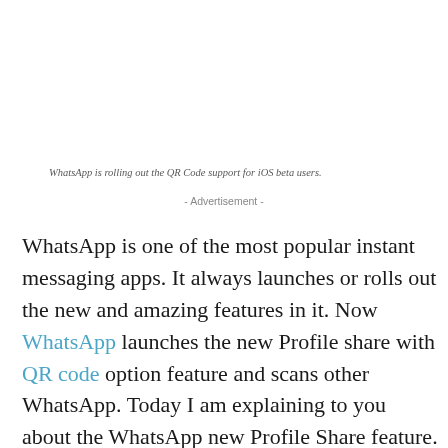WhatsApp is rolling out the QR Code support for iOS beta users.
- Advertisement -
WhatsApp is one of the most popular instant messaging apps. It always launches or rolls out the new and amazing features in it. Now WhatsApp launches the new Profile share with QR code option feature and scans other WhatsApp. Today I am explaining to you about the WhatsApp new Profile Share feature. Read this post till the end to know more about these features.